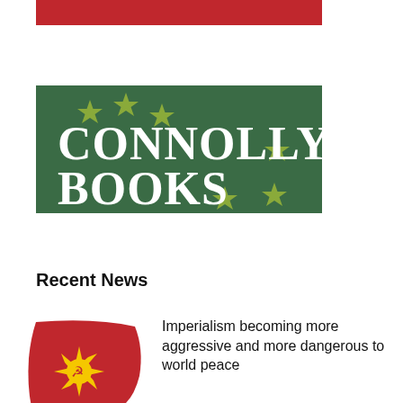[Figure (other): Red horizontal bar banner at top]
[Figure (logo): Connolly Books logo: dark green background with white bold text 'CONNOLLY BOOKS' and olive/yellow-green five-pointed stars arranged around the text]
Recent News
[Figure (illustration): Red flag with yellow sunburst and hammer and sickle symbol]
Imperialism becoming more aggressive and more dangerous to world peace